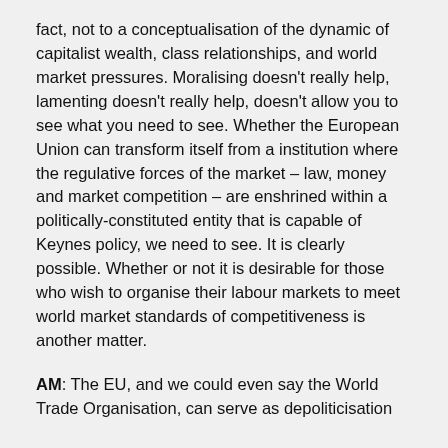fact, not to a conceptualisation of the dynamic of capitalist wealth, class relationships, and world market pressures. Moralising doesn't really help, lamenting doesn't really help, doesn't allow you to see what you need to see. Whether the European Union can transform itself from a institution where the regulative forces of the market – law, money and market competition – are enshrined within a politically-constituted entity that is capable of Keynes policy, we need to see. It is clearly possible. Whether or not it is desirable for those who wish to organise their labour markets to meet world market standards of competitiveness is another matter.
AM: The EU, and we could even say the World Trade Organisation, can serve as depoliticisation